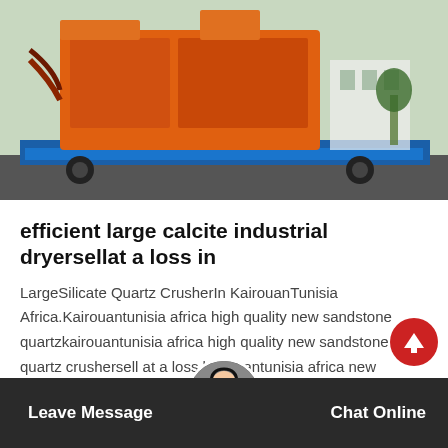[Figure (photo): Large orange industrial crusher/dryer machine on a flatbed truck in an outdoor setting]
efficient large calcite industrial dryersellat a loss in
LargeSilicate Quartz CrusherIn KairouanTunisia Africa.Kairouantunisia africa high quality new sandstone quartzkairouantunisia africa high quality new sandstone quartz crushersell at a loss kairouantunisia africa new sandstoneball…
[Figure (other): Get Price orange button]
Leave Message   Chat Online